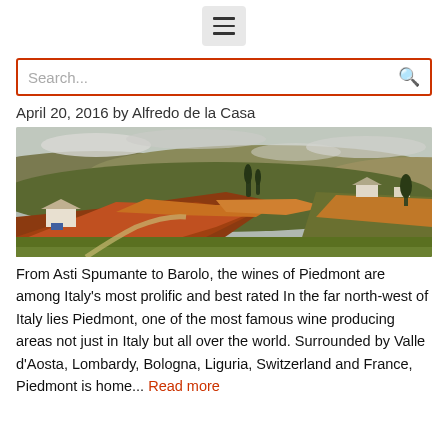[Figure (other): Hamburger menu icon button (three horizontal lines) centered at top of page]
[Figure (other): Search input box with red/orange border and magnifying glass icon on the right]
April 20, 2016 by Alfredo de la Casa
[Figure (photo): Landscape photo of Piedmont vineyard region in autumn with rolling hills covered in red and golden vines, white farmhouses, cypress trees, and overcast sky]
From Asti Spumante to Barolo, the wines of Piedmont are among Italy’s most prolific and best rated In the far north-west of Italy lies Piedmont, one of the most famous wine producing areas not just in Italy but all over the world. Surrounded by Valle d’Aosta, Lombardy, Bologna, Liguria, Switzerland and France, Piedmont is home... Read more